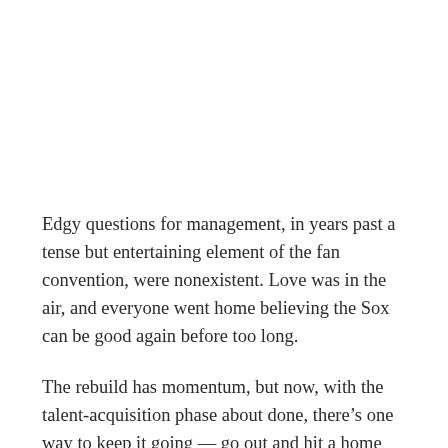Edgy questions for management, in years past a tense but entertaining element of the fan convention, were nonexistent. Love was in the air, and everyone went home believing the Sox can be good again before too long.
The rebuild has momentum, but now, with the talent-acquisition phase about done, there’s one way to keep it going — go out and hit a home run in the draft.